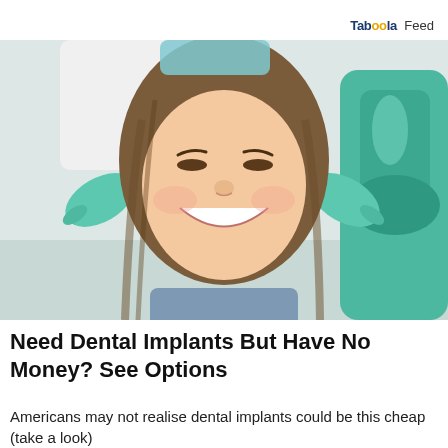Taboola Feed
[Figure (photo): A smiling young woman reclining in a dental chair while a dentist in white coat and teal gloves frames her face with both hands, green dental equipment visible in background.]
Need Dental Implants But Have No Money? See Options
Americans may not realise dental implants could be this cheap (take a look)